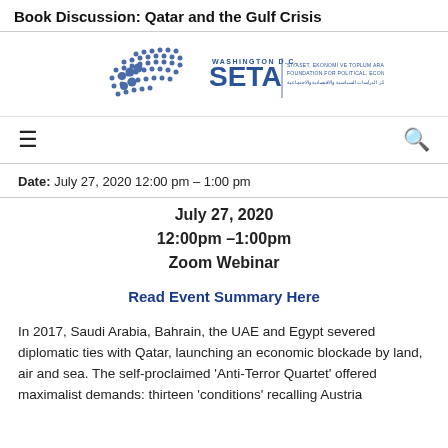Book Discussion: Qatar and the Gulf Crisis
[Figure (logo): SETA Washington D.C. logo with globe/dot pattern and full organization name in English, Turkish, and Arabic]
[Figure (other): Navigation bar with hamburger menu icon and search icon]
Date: July 27, 2020 12:00 pm – 1:00 pm
July 27, 2020
12:00pm –1:00pm
Zoom Webinar
Read Event Summary Here
In 2017, Saudi Arabia, Bahrain, the UAE and Egypt severed diplomatic ties with Qatar, launching an economic blockade by land, air and sea. The self-proclaimed 'Anti-Terror Quartet' offered maximalist demands: thirteen 'conditions' recalling Austria